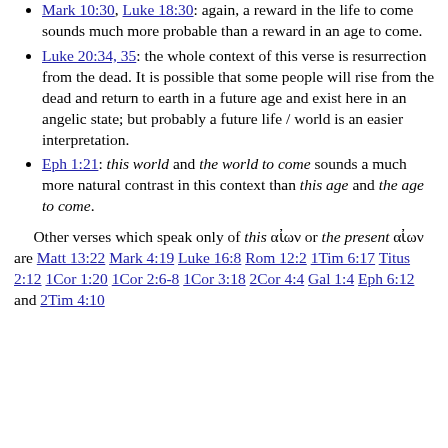Mark 10:30, Luke 18:30: again, a reward in the life to come sounds much more probable than a reward in an age to come.
Luke 20:34, 35: the whole context of this verse is resurrection from the dead. It is possible that some people will rise from the dead and return to earth in a future age and exist here in an angelic state; but probably a future life / world is an easier interpretation.
Eph 1:21: this world and the world to come sounds a much more natural contrast in this context than this age and the age to come.
Other verses which speak only of this αἰων or the present αἰων are Matt 13:22 Mark 4:19 Luke 16:8 Rom 12:2 1Tim 6:17 Titus 2:12 1Cor 1:20 1Cor 2:6-8 1Cor 3:18 2Cor 4:4 Gal 1:4 Eph 6:12 and 2Tim 4:10